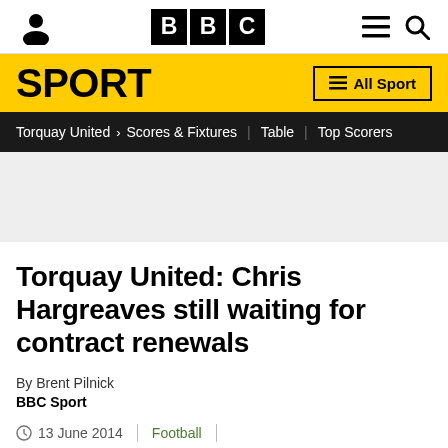BBC Sport
SPORT | All Sport
Torquay United > Scores & Fixtures | Table | Top Scorers
Torquay United: Chris Hargreaves still waiting for contract renewals
By Brent Pilnick
BBC Sport
13 June 2014 | Football